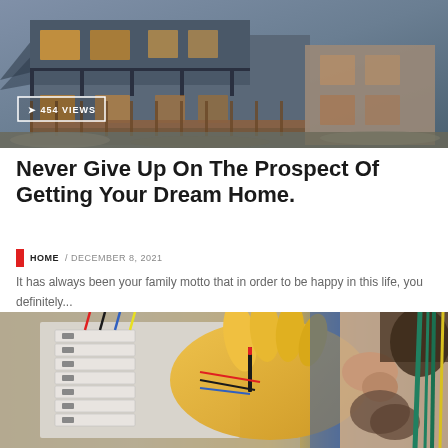[Figure (photo): Modern multi-story house exterior at dusk with lights on, balconies visible. A badge overlay reads '454 VIEWS'.]
Never Give Up On The Prospect Of Getting Your Dream Home.
HOME / DECEMBER 8, 2021
It has always been your family motto that in order to be happy in this life, you definitely...
[Figure (photo): Close-up of an electrician wearing yellow gloves working on an electrical panel with wires.]